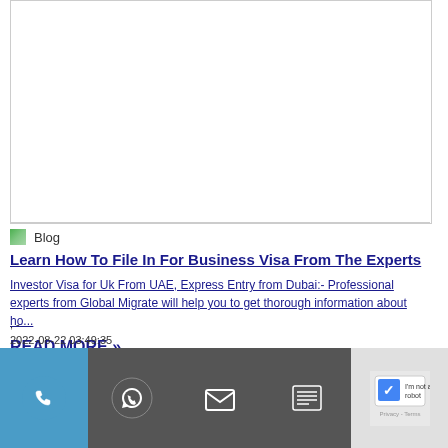[Figure (other): Empty white image area with light grey border, top portion of page]
Blog
Learn How To File In For Business Visa From The Experts
Investor Visa for Uk From UAE, Express Entry from Dubai:- Professional experts from Global Migrate will help you to get thorough information about ho...
READ MORE »
, -
2022-08-22 03:49:35
[Figure (other): Bottom navigation bar with phone, WhatsApp, email, list icons and a CAPTCHA widget]